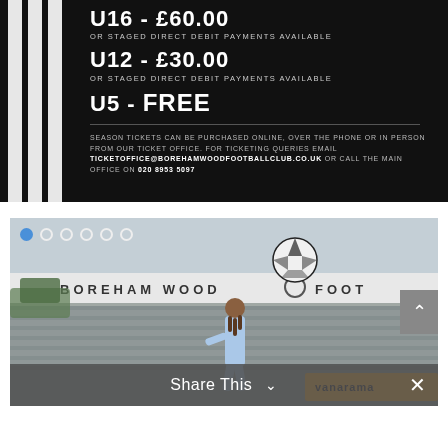U16 - £60.00
OR STAGED DIRECT DEBIT PAYMENTS AVAILABLE
U12 - £30.00
OR STAGED DIRECT DEBIT PAYMENTS AVAILABLE
U5 - FREE
SEASON TICKETS CAN BE PURCHASED ONLINE, OVER THE PHONE OR IN PERSON FROM OUR TICKET OFFICE. FOR TICKETING QUERIES EMAIL TICKETOFFICE@BOREHAMWOODFOOTBALLCLUB.CO.UK OR CALL THE MAIN OFFICE ON 020 8953 5097
[Figure (photo): A footballer in a light blue kit heading or controlling a football in the air at Boreham Wood Football Club stadium, with signage 'BOREHAM WOOD FOOT' and Vanarama branding visible in the background. Carousel navigation dots visible at top left.]